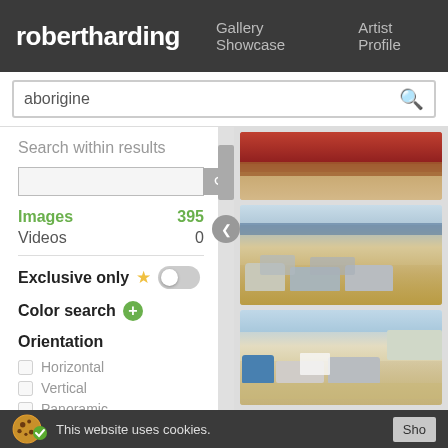robertharding  Gallery Showcase  Artist Profile
aborigine (search query)
Search within results
Images  395
Videos  0
Exclusive only
Color search
Orientation
Horizontal
Vertical
Panoramic
[Figure (screenshot): Screenshot of robertharding.com image search results for 'aborigine' showing a sidebar with filters (Images: 395, Videos: 0, Exclusive only toggle, Color search, Orientation checkboxes) and three photo thumbnails on the right side showing a building with red carpet stairs, and two outdoor market scenes with many parked cars.]
This website uses cookies.  Show